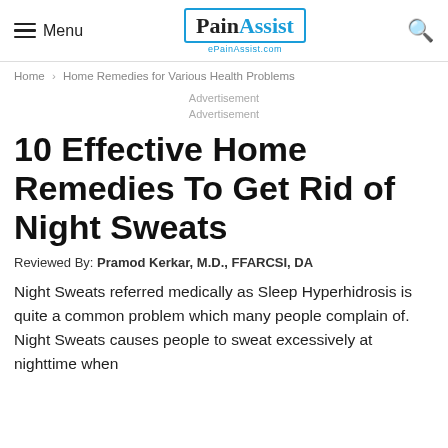Menu | PainAssist ePainAssist.com | Search
Home › Home Remedies for Various Health Problems
Advertisement
Advertisement
10 Effective Home Remedies To Get Rid of Night Sweats
Reviewed By: Pramod Kerkar, M.D., FFARCSI, DA
Night Sweats referred medically as Sleep Hyperhidrosis is quite a common problem which many people complain of. Night Sweats causes people to sweat excessively at nighttime when